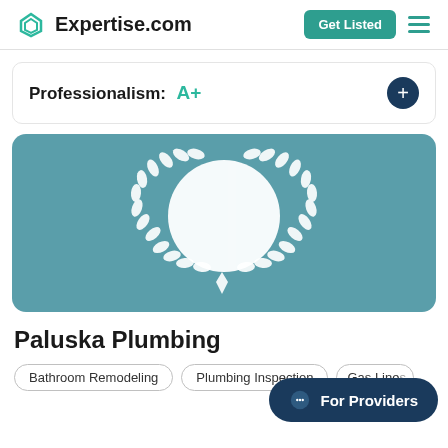Expertise.com
Professionalism: A+
[Figure (illustration): Expertise.com award badge: white laurel wreath surrounding a white circle on a teal/steel-blue background]
Paluska Plumbing
Bathroom Remodeling
Plumbing Inspection
Gas Lines